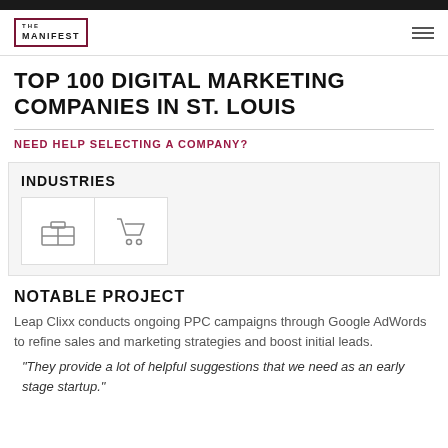THE MANIFEST
TOP 100 DIGITAL MARKETING COMPANIES IN ST. LOUIS
NEED HELP SELECTING A COMPANY?
INDUSTRIES
[Figure (illustration): Two industry icons: a briefcase icon and a shopping cart icon, each in a white bordered box]
NOTABLE PROJECT
Leap Clixx conducts ongoing PPC campaigns through Google AdWords to refine sales and marketing strategies and boost initial leads.
"They provide a lot of helpful suggestions that we need as an early stage startup."